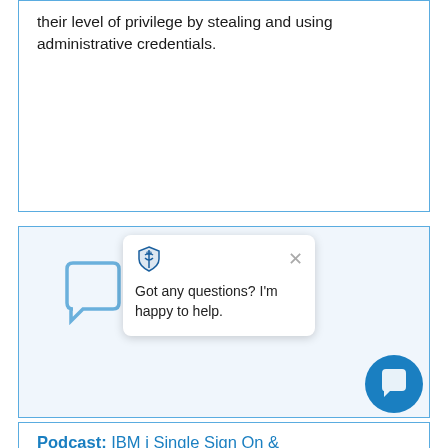their level of privilege by stealing and using administrative credentials.
[Figure (screenshot): Chat widget popup with shield/logo icon, close button (×), and message 'Got any questions? I'm happy to help.' overlaying a chat bubble icon on a light blue background.]
Podcast: IBM i Single Sign On Now Easier Than Ever